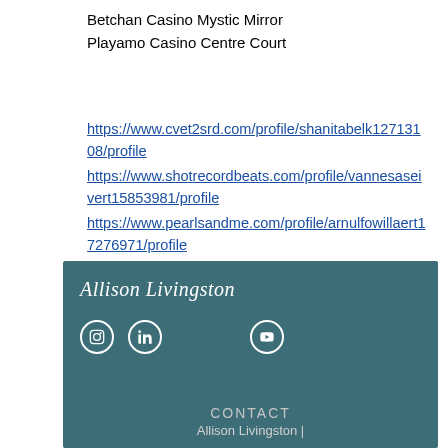Betchan Casino Mystic Mirror
Playamo Casino Centre Court
https://www.cvet2srd.com/profile/shanitabelk12713108/profile https://www.shotrecordbeats.com/profile/vannesaseivert15853981/profile https://www.pearlsandme.com/profile/arnulfowillaert17276971/profile https://www.naturalsoulrhythm.com/profile/leifsanfiorenzo11046249/profile
[Figure (other): Website footer section with teal/dark cyan background showing italic script text 'Allison Livingston', three social media icons (Instagram, LinkedIn, YouTube) in white circles, and CONTACT section with 'Allison Livingston |' text]